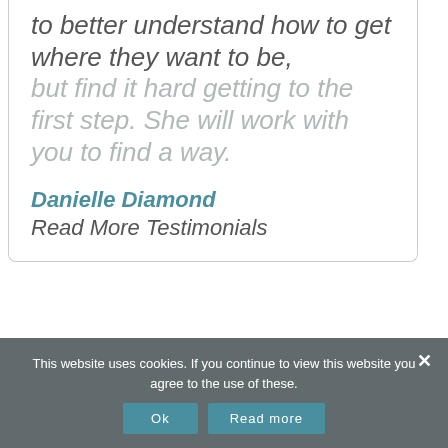to better understand how to get where they want to be, but find it hard getting to the first step. She will work with you to find a way.
Danielle Diamond
Read More Testimonials
This website uses cookies. If you continue to view this website you agree to the use of these.
Ok
Read more